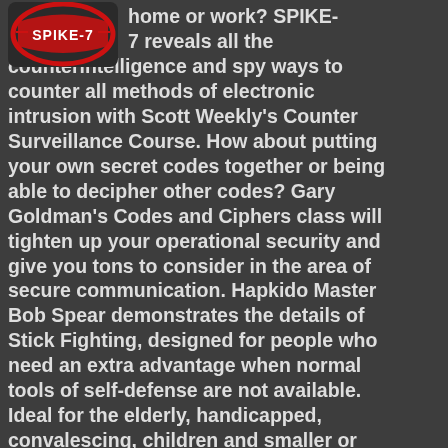[Figure (logo): SPIKE-7 logo with red and white design on dark background]
home or work? SPIKE-7 reveals all the counterintelligence and spy ways to counter all methods of electronic intrusion with Scott Weekly's Counter Surveillance Course. How about putting your own secret codes together or being able to decipher other codes? Gary Goldman's Codes and Ciphers class will tighten up your operational security and give you tons to consider in the area of secure communication. Hapkido Master Bob Spear demonstrates the details of Stick Fighting, designed for people who need an extra advantage when normal tools of self-defense are not available. Ideal for the elderly, handicapped, convalescing, children and smaller or weaker than average people. Specifically, you'll learn how to defend yourself with a cane, walker, clubs and many other items. Dr. Ken Anderson's Field Herbs